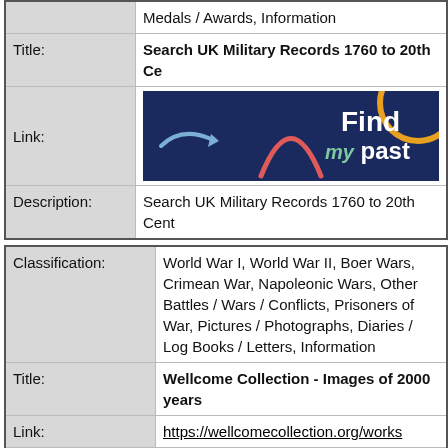|  | Medals / Awards, Information |
| Title: | Search UK Military Records 1760 to 20th Ce... |
| Link: | [FindMyPast banner image] |
| Description: | Search UK Military Records 1760 to 20th Cent... |
| Classification: | World War I, World War II, Boer Wars, Crimean War, Napoleonic Wars, Other Battles / Wars / Conflicts, Prisoners of War, Pictures / Photographs, Diaries / Log Books / Letters, Information |
| Title: | Wellcome Collection - Images of 2000 years |
| Link: | https://wellcomecollection.org/works |
| Description: | Wellcome Collection - Images of 2000 years |
| Extra Info: | Many images of war, including images of Christmas postcards send during WWI. Can be downloaded or printed for a fee. |
|  | Graves / Memorials / Roll of Honour, RAF / RFC / RNAS, Navy, Army, Marines, World War I, World War II, Boer Wars, Crimean War, Napoleonic Wars, Other Battles /... |